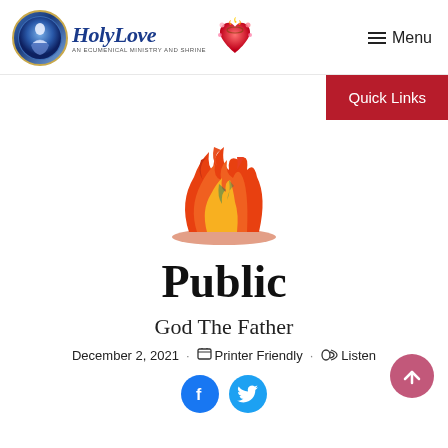Holy Love — An Ecumenical Ministry and Shrine | Menu
[Figure (other): Red button labeled Quick Links on right side]
[Figure (illustration): Illustration of flames / fire in red and orange colors]
Public
God The Father
December 2, 2021 · Printer Friendly · Listen
[Figure (other): Facebook and Twitter social share icons]